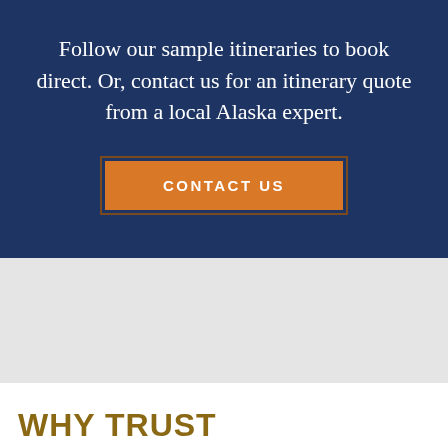Follow our sample itineraries to book direct. Or, contact us for an itinerary quote from a local Alaska expert.
[Figure (other): Orange button with text CONTACT US on dark blue background]
WHY TRUST ALASKA.ORG